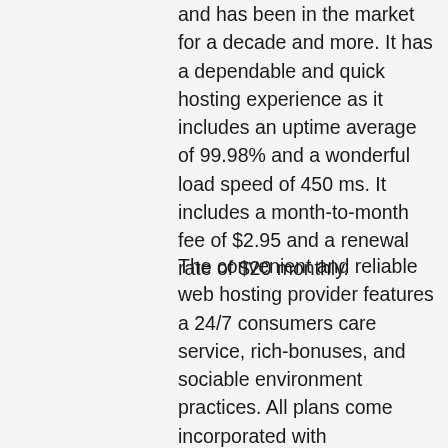and has been in the market for a decade and more. It has a dependable and quick hosting experience as it includes an uptime average of 99.98% and a wonderful load speed of 450 ms. It includes a month-to-month fee of $2.95 and a renewal rate of $20 monthly.
The convenient and reliable web hosting provider features a 24/7 consumers care service, rich-bonuses, and sociable environment practices. All plans come incorporated with complimentary Wildcard SSL, one-year totally free domain, unrestricted information transfer, limitless SSD storage, cPanel access, and a PowerCacher. Moreover, users can quickly get unlimited email accounts,